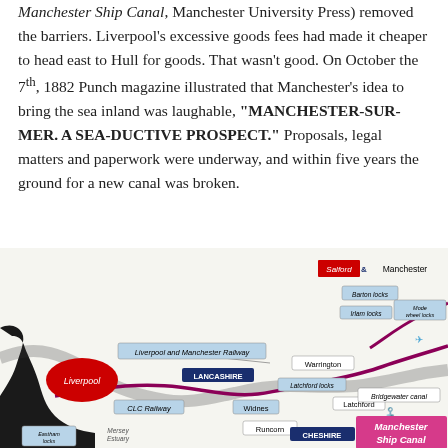Manchester Ship Canal, Manchester University Press) removed the barriers. Liverpool's excessive goods fees had made it cheaper to head east to Hull for goods. That wasn't good. On October the 7th, 1882 Punch magazine illustrated that Manchester's idea to bring the sea inland was laughable, "MANCHESTER-SUR-MER. A SEA-DUCTIVE PROSPECT." Proposals, legal matters and paperwork were underway, and within five years the ground for a new canal was broken.
[Figure (map): Map of the Manchester Ship Canal route from Liverpool and the Mersey Estuary eastward through Runcorn, Widnes, Latchford, Warrington to Salford and Manchester. Shows Liverpool and Manchester Railway, CLC Railway, Bridgewater Canal, and various locks (Eastham, Latchford, Irlam, Barton, Mode Wheel). Liverpool marked with red oval, Salford with red rectangle, Manchester Ship Canal label in pink/magenta bottom right.]